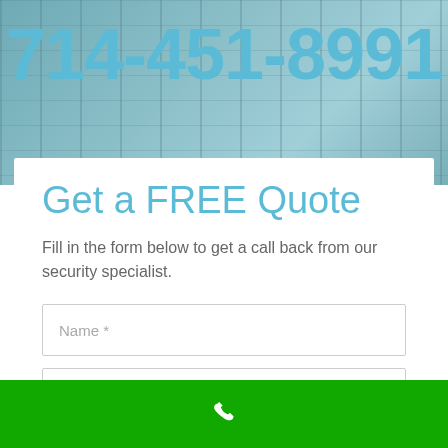714-451-8991
Get a FREE Quote
Fill in the form below to get a call back from our security specialist.
[Figure (screenshot): Contact form with fields: Name *, Email *, Telephone *, Zip *]
[Figure (other): Green bottom bar with white phone icon]